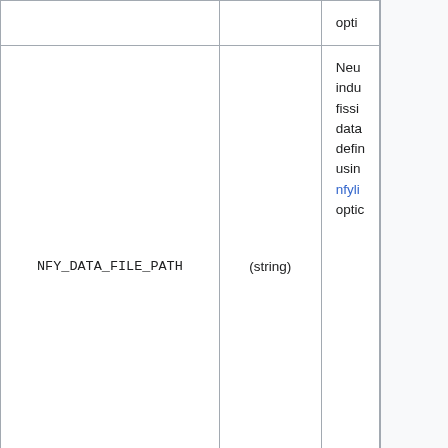|  | (type) | Description |
| --- | --- | --- |
|  |  | opti... |
| NFY_DATA_FILE_PATH | (string) | Neutron-induced fission data... defines... using nfyli... optic... |
| BRA_DATA_FILE_PATH | (string) | Isomeric branching ratio path... using brali... optic... |
Misc. statistics
Collision and reaction sampling